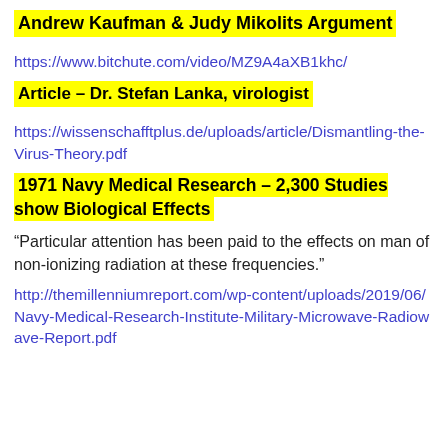Andrew Kaufman & Judy Mikolits Argument
https://www.bitchute.com/video/MZ9A4aXB1khc/
Article – Dr. Stefan Lanka, virologist
https://wissenschafftplus.de/uploads/article/Dismantling-the-Virus-Theory.pdf
1971 Navy Medical Research – 2,300 Studies show Biological Effects
“Particular attention has been paid to the effects on man of non-ionizing radiation at these frequencies.”
http://themillenniumreport.com/wp-content/uploads/2019/06/Navy-Medical-Research-Institute-Military-Microwave-Radiowave-Report.pdf